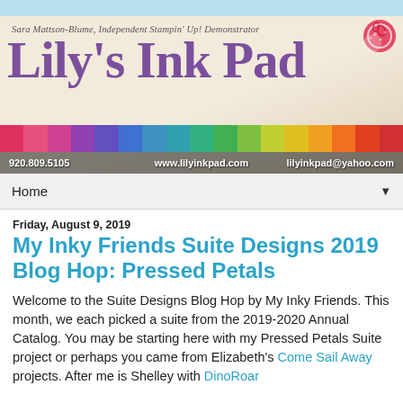[Figure (illustration): Lily's Ink Pad blog banner with text 'Sara Mattson-Blume, Independent Stampin' Up! Demonstrator', large title 'Lily's Ink Pad', rainbow-colored ink pad blocks at bottom, phone number 920.809.5105, website www.lilyinkpad.com, email lilyinkpad@yahoo.com, and a red decorative circle in top right.]
Home ▼
Friday, August 9, 2019
My Inky Friends Suite Designs 2019 Blog Hop: Pressed Petals
Welcome to the Suite Designs Blog Hop by My Inky Friends. This month, we each picked a suite from the 2019-2020 Annual Catalog. You may be starting here with my Pressed Petals Suite project or perhaps you came from Elizabeth's Come Sail Away projects. After me is Shelley with DinoRoar